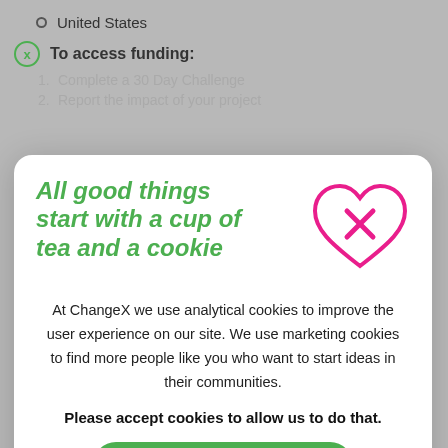United States
To access funding:
1. Complete a 30 Day Challenge
2. Report the impact of your project
All good things start with a cup of tea and a cookie
At ChangeX we use analytical cookies to improve the user experience on our site. We use marketing cookies to find more people like you who want to start ideas in their communities.
Please accept cookies to allow us to do that.
I accept cookies
Please don't use cookies
Welcome to Playful Learning Landscapes Action Network on ChangeX! It's time to reimagine how the ordinary can become extraordinary. Imagine a supermarket that doubles as a children's museum, a